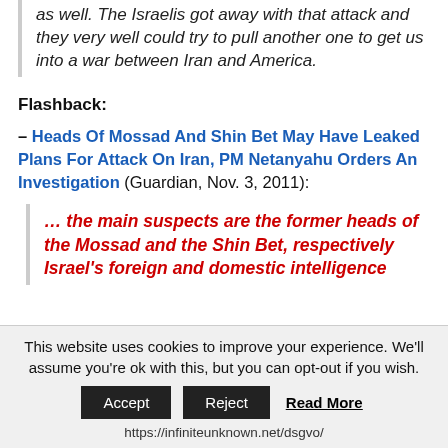as well. The Israelis got away with that attack and they very well could try to pull another one to get us into a war between Iran and America.
Flashback:
– Heads Of Mossad And Shin Bet May Have Leaked Plans For Attack On Iran, PM Netanyahu Orders An Investigation (Guardian, Nov. 3, 2011):
… the main suspects are the former heads of the Mossad and the Shin Bet, respectively Israel's foreign and domestic intelligence
This website uses cookies to improve your experience. We'll assume you're ok with this, but you can opt-out if you wish.
https://infiniteunknown.net/dsgvo/